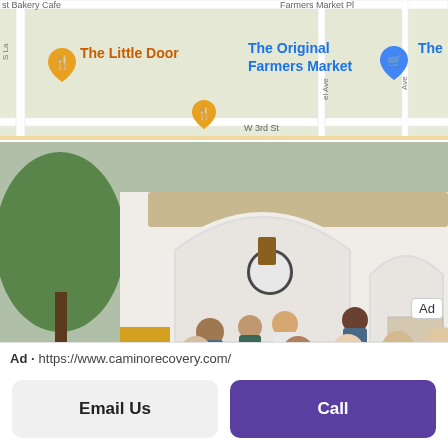[Figure (screenshot): Google Maps screenshot showing The Little Door restaurant pin (orange) and The Original Farmers Market pin (blue) near W 3rd St in Los Angeles]
[Figure (photo): Group photo of approximately 11 people seated and standing at a Spanish-style outdoor patio with white arched walls, bar stools, and an awning. Ad badge visible in top right corner.]
Ad · https://www.caminorecovery.com/
Email Us
Call